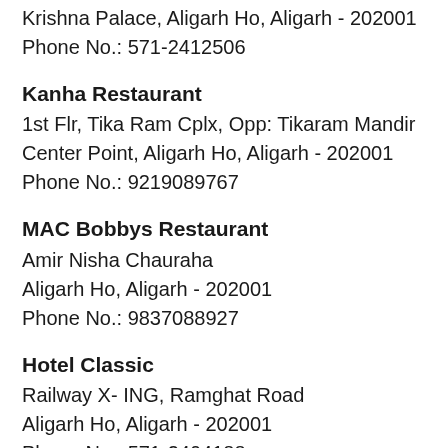Krishna Palace, Aligarh Ho, Aligarh - 202001
Phone No.: 571-2412506
Kanha Restaurant
1st Flr, Tika Ram Cplx, Opp: Tikaram Mandir
Center Point, Aligarh Ho, Aligarh - 202001
Phone No.: 9219089767
MAC Bobbys Restaurant
Amir Nisha Chauraha
Aligarh Ho, Aligarh - 202001
Phone No.: 9837088927
Hotel Classic
Railway X- ING, Ramghat Road
Aligarh Ho, Aligarh - 202001
Phone No.: 571-2404188